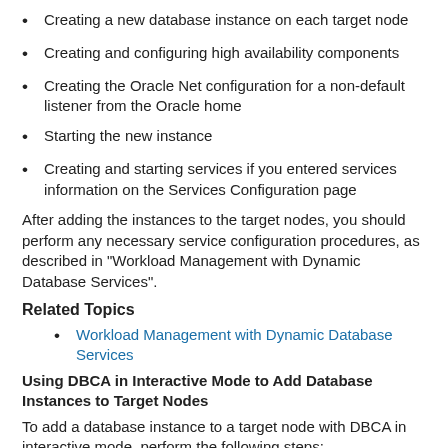Creating a new database instance on each target node
Creating and configuring high availability components
Creating the Oracle Net configuration for a non-default listener from the Oracle home
Starting the new instance
Creating and starting services if you entered services information on the Services Configuration page
After adding the instances to the target nodes, you should perform any necessary service configuration procedures, as described in "Workload Management with Dynamic Database Services".
Related Topics
Workload Management with Dynamic Database Services
Using DBCA in Interactive Mode to Add Database Instances to Target Nodes
To add a database instance to a target node with DBCA in interactive mode, perform the following steps:
Ensure that your existing nodes have the $ORACLE_HOME environment variable set to the Oracle DAS home...